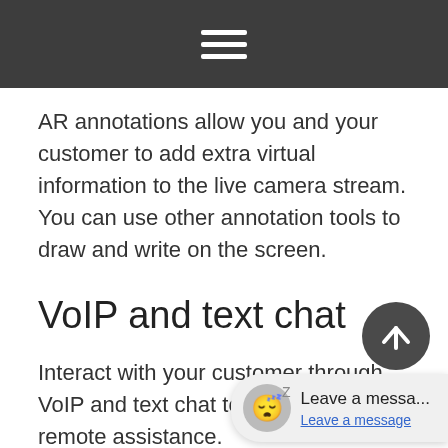AR annotations allow you and your customer to add extra virtual information to the live camera stream. You can use other annotation tools to draw and write on the screen.
VoIP and text chat
Interact with your customer through VoIP and text chat to provide better remote assistance.
Snapshots
Capture a snapshot of the incoming...